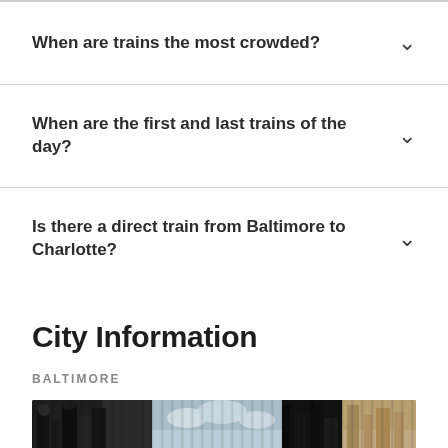When are trains the most crowded?
When are the first and last trains of the day?
Is there a direct train from Baltimore to Charlotte?
City Information
BALTIMORE
[Figure (photo): City skyline photo of Baltimore, showing architectural facades and cityscape in black, white, and muted tones]